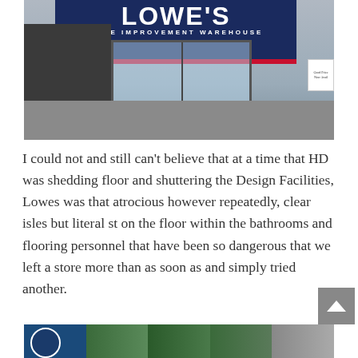[Figure (photo): Exterior photo of a Lowe's Home Improvement Warehouse store, showing the blue and red sign, glass entrance doors, gray building facade, and parking lot area in front.]
I could not and still can't believe that at a time that HD was shedding floor and shuttering the Design Facilities, Lowes was that atrocious however repeatedly, clear isles but literal st on the floor within the bathrooms and flooring personnel that have been so dangerous that we left a store more than as soon as and simply tried another.
[Figure (photo): Partial bottom strip of a photo showing what appears to be a home or real estate related image with trees and a circular logo on the left side.]